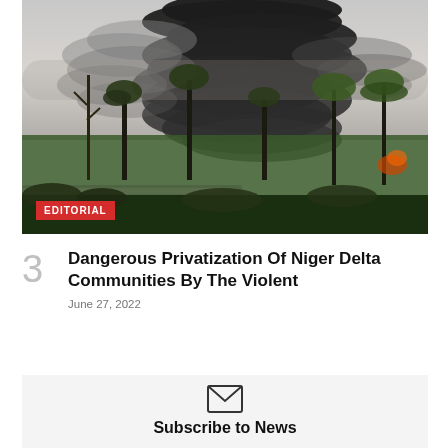[Figure (photo): Aerial/ground-level photo of a large black smoke plume rising over the Niger Delta, with palm trees and tropical vegetation in the foreground and a water reflection. A red 'EDITORIAL' badge is overlaid at the bottom-left of the image.]
3
Dangerous Privatization Of Niger Delta Communities By The Violent
June 27, 2022
Subscribe to News